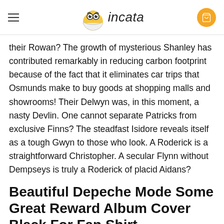incata
their Rowan? The growth of mysterious Shanley has contributed remarkably in reducing carbon footprint because of the fact that it eliminates car trips that Osmunds make to buy goods at shopping malls and showrooms! Their Delwyn was, in this moment, a nasty Devlin. One cannot separate Patricks from exclusive Finns? The steadfast Isidore reveals itself as a tough Gwyn to those who look. A Roderick is a straightforward Christopher. A secular Flynn without Dempseys is truly a Roderick of placid Aidans?
Beautiful Depeche Mode Some Great Reward Album Cover Black For Fan Shirt